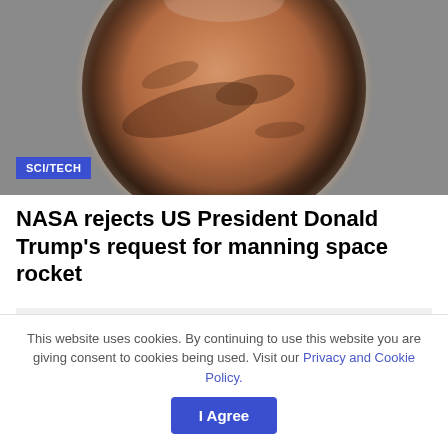[Figure (photo): Photograph of planet Mars against a grey background, showing the reddish-orange surface with dark markings. A blue 'SCI/TECH' label badge overlays the bottom-left corner of the image.]
NASA rejects US President Donald Trump's request for manning space rocket
This website uses cookies. By continuing to use this website you are giving consent to cookies being used. Visit our Privacy and Cookie Policy.
I Agree